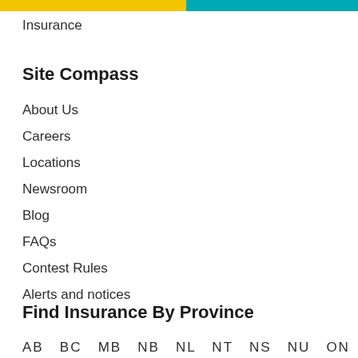Insurance
Site Compass
About Us
Careers
Locations
Newsroom
Blog
FAQs
Contest Rules
Alerts and notices
Find Insurance By Province
AB  BC  MB  NB  NL  NT  NS  NU  ON  PE